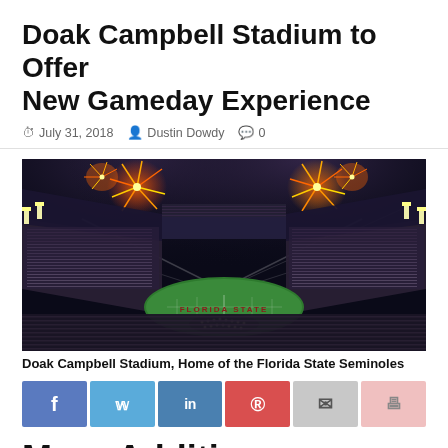Doak Campbell Stadium to Offer New Gameday Experience
July 31, 2018  Dustin Dowdy  0
[Figure (photo): Aerial night photograph of Doak Campbell Stadium filled with fans, fireworks exploding above the stadium, Florida State painted on the end zone.]
Doak Campbell Stadium, Home of the Florida State Seminoles
Social share buttons: Facebook, Twitter, LinkedIn, Pinterest, Email, Print
More Additions Coming To...